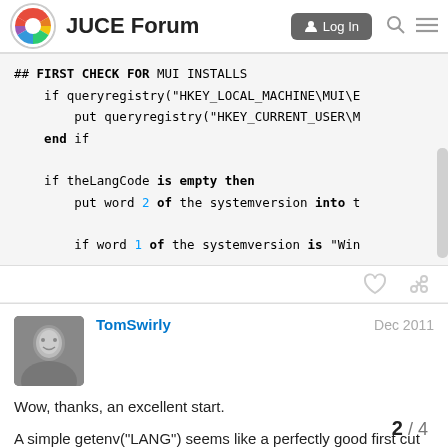JUCE Forum  Log In
## FIRST CHECK FOR MUI INSTALLS
    if queryregistry("HKEY_LOCAL_MACHINE\MUI\E
        put queryregistry("HKEY_CURRENT_USER\M
    end if

    if theLangCode is empty then
        put word 2 of the systemversion into t

        if word 1 of the systemversion is "Win
TomSwirly  Dec 2011
Wow, thanks, an excellent start.
A simple getenv("LANG") seems like a perfectly good first cut for Linux.
2 / 4